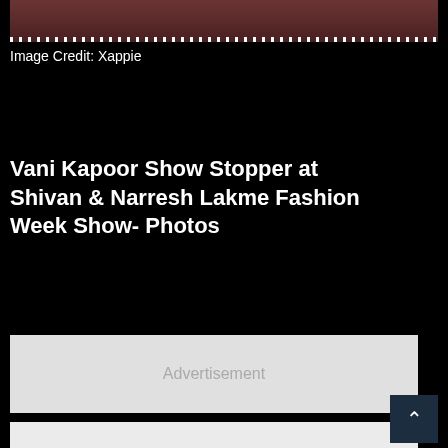[Figure (photo): Partial fashion show photo showing model in dark outfit with decorative white trim details at Lakme Fashion Week]
Image Credit: Xappie
Vani Kapoor Show Stopper at Shivan & Narresh Lakme Fashion Week Show- Photos
[Figure (other): Advertisement placeholder box]
[Figure (other): Content image placeholder (light grey box)]